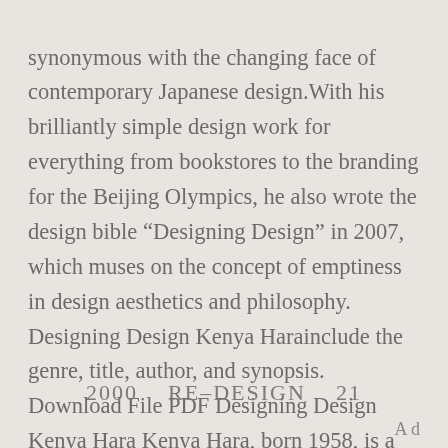synonymous with the changing face of contemporary Japanese design.With his brilliantly simple design work for everything from bookstores to the branding for the Beijing Olympics, he also wrote the design bible “Designing Design” in 2007, which muses on the concept of emptiness in design aesthetics and philosophy. Designing Design Kenya Harainclude the genre, title, author, and synopsis. Download File PDF Designing Design Kenya Hara Kenya Hara, born 1958, is a Japanese graphic designer and professor at the Musashino Art University in Tokyo.      Kenya Hara 1958
2000    RE–DESIGN    21